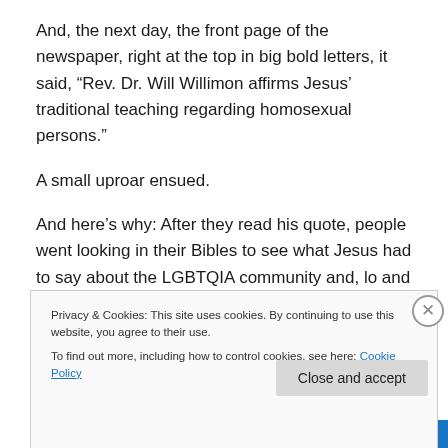And, the next day, the front page of the newspaper, right at the top in big bold letters, it said, “Rev. Dr. Will Willimon affirms Jesus’ traditional teaching regarding homosexual persons.”
A small uproar ensued.
And here’s why: After they read his quote, people went looking in their Bibles to see what Jesus had to say about the LGBTQIA community and, lo and behold, he didn’t say
Privacy & Cookies: This site uses cookies. By continuing to use this website, you agree to their use.
To find out more, including how to control cookies, see here: Cookie Policy